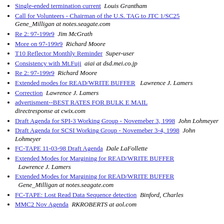Single-ended termination current  Louis Grantham
Call for Volunteers - Chairman of the U.S. TAG to JTC 1/SC25  Gene_Milligan at notes.seagate.com
Re 2: 97-199r9  Jim McGrath
More on 97-199r9  Richard Moore
T10 Reflector Monthly Reminder  Super-user
Consistency with Mt.Fuji  aiai at dsd.mei.co.jp
Re 2: 97-199r9  Richard Moore
Extended modes for READ/WRITE BUFFER  Lawrence J. Lamers
Correction  Lawrence J. Lamers
advertisment--BEST RATES FOR BULK E MAIL  directresponse at cwix.com
Draft Agenda for SPI-3 Working Group - Novemeber 3, 1998  John Lohmeyer
Draft Agenda for SCSI Working Group - Novemeber 3-4, 1998  John Lohmeyer
FC-TAPE 11-03-98 Draft Agenda  Dale LaFollette
Extended Modes for Margining for READ/WRITE BUFFER  Lawrence J. Lamers
Extended Modes for Margining for READ/WRITE BUFFER  Gene_Milligan at notes.seagate.com
FC-TAPE: Lost Read Data Sequence detection  Binford, Charles
MMC2 Nov Agenda  RKROBERTS at aol.com